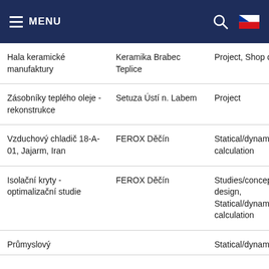MENU
| Project | Client | Scope |
| --- | --- | --- |
| Hala keramické manufaktury | Keramika Brabec Teplice | Project, Shop drawi... |
| Zásobníky teplého oleje - rekonstrukce | Setuza Ústí n. Labem | Project |
| Vzduchový chladič 18-A-01, Jajarm, Iran | FEROX Děčín | Statical/dynamical calculation |
| Isolační kryty - optimalizační studie | FEROX Děčín | Studies/conceptual design, Statical/dynamical calculation |
| Průmyslový |  | Statical/dynamical... |